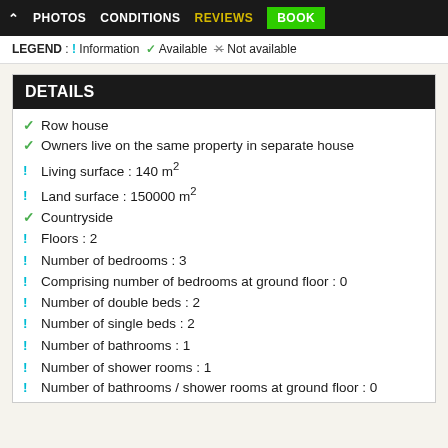^ PHOTOS   CONDITIONS   REVIEWS   BOOK
LEGEND : ! Information ✓ Available × Not available
DETAILS
Row house
Owners live on the same property in separate house
Living surface : 140 m²
Land surface : 150000 m²
Countryside
Floors : 2
Number of bedrooms : 3
Comprising number of bedrooms at ground floor : 0
Number of double beds : 2
Number of single beds : 2
Number of bathrooms : 1
Number of shower rooms : 1
Number of bathrooms / shower rooms at ground floor : 0